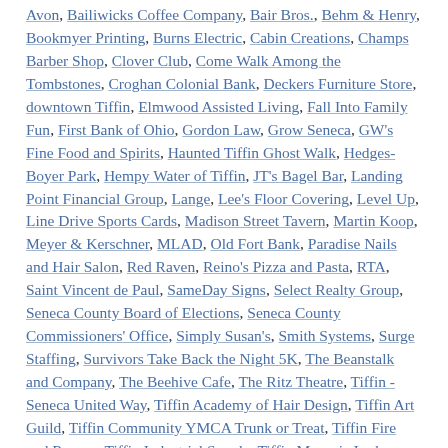Avon, Bailiwicks Coffee Company, Bair Bros., Behm & Henry, Bookmyer Printing, Burns Electric, Cabin Creations, Champs Barber Shop, Clover Club, Come Walk Among the Tombstones, Croghan Colonial Bank, Deckers Furniture Store, downtown Tiffin, Elmwood Assisted Living, Fall Into Family Fun, First Bank of Ohio, Gordon Law, Grow Seneca, GW's Fine Food and Spirits, Haunted Tiffin Ghost Walk, Hedges-Boyer Park, Hempy Water of Tiffin, JT's Bagel Bar, Landing Point Financial Group, Lange, Lee's Floor Covering, Level Up, Line Drive Sports Cards, Madison Street Tavern, Martin Koop, Meyer & Kerschner, MLAD, Old Fort Bank, Paradise Nails and Hair Salon, Red Raven, Reino's Pizza and Pasta, RTA, Saint Vincent de Paul, SameDay Signs, Select Realty Group, Seneca County Board of Elections, Seneca County Commissioners' Office, Simply Susan's, Smith Systems, Surge Staffing, Survivors Take Back the Night 5K, The Beanstalk and Company, The Beehive Cafe, The Ritz Theatre, Tiffin - Seneca United Way, Tiffin Academy of Hair Design, Tiffin Art Guild, Tiffin Community YMCA Trunk or Treat, Tiffin Fire and Rescue, Tiffin Industrial Supply, Tiffin Masonic Lodge, Tiffin Ohio, Tiffin Trunk or Treat, Tiffin-Seneca Public Library, Tom Rodgers Flowers, Tong's,